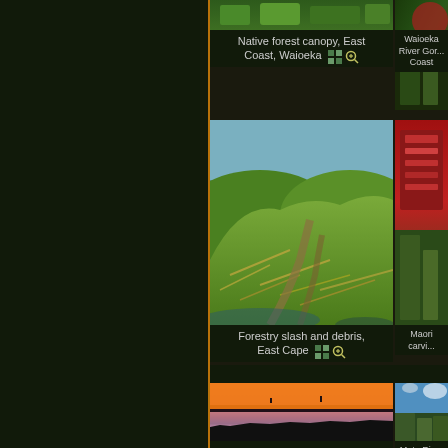[Figure (photo): Native forest canopy aerial view, East Coast, Waioeka]
Native forest canopy, East Coast, Waioeka
[Figure (photo): Waioeka River Gorge, East Coast (partially visible)]
[Figure (photo): Forestry slash and debris aerial view, East Cape]
Forestry slash and debris, East Cape
[Figure (photo): Maori carving (partially visible)]
Maori carvi...
[Figure (photo): Papatea Bay, White Island at sunset with orange sky and calm water]
Papatea Bay, White Island, sunset
[Figure (photo): Motu River mouth coastal view with blue sea and native vegetation (partially visible)]
Motu River mo...